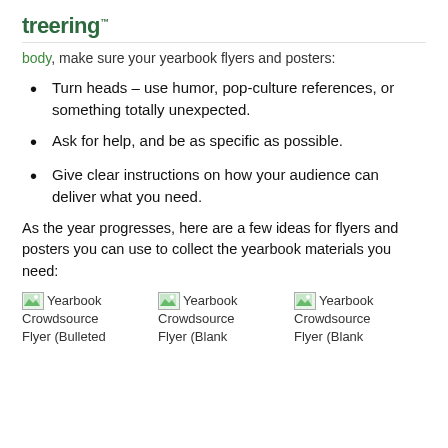treering™
body, make sure your yearbook flyers and posters:
Turn heads – use humor, pop-culture references, or something totally unexpected.
Ask for help, and be as specific as possible.
Give clear instructions on how your audience can deliver what you need.
As the year progresses, here are a few ideas for flyers and posters you can use to collect the yearbook materials you need:
[Figure (illustration): Three partially visible yearbook crowdsource flyer images arranged in a row. Each shows a broken image icon followed by 'Yearbook Crowdsource Flyer (Bulleted', 'Flyer (Blank', 'Flyer (Blank' text labels below.]